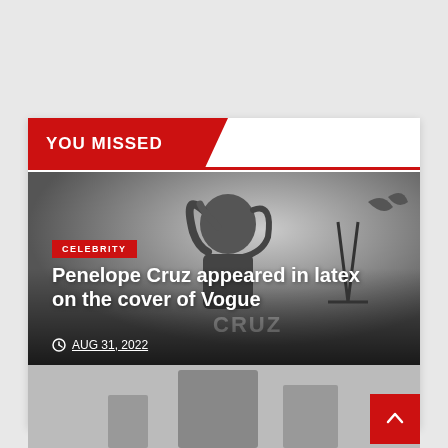YOU MISSED
[Figure (photo): Black and white photo of Penelope Cruz with long hair, leaning on a surface with 'CRUZ' text visible in background]
CELEBRITY
Penelope Cruz appeared in latex on the cover of Vogue
AUG 31, 2022
[Figure (photo): Partial bottom image, appears to show a chair or furniture, black and white]